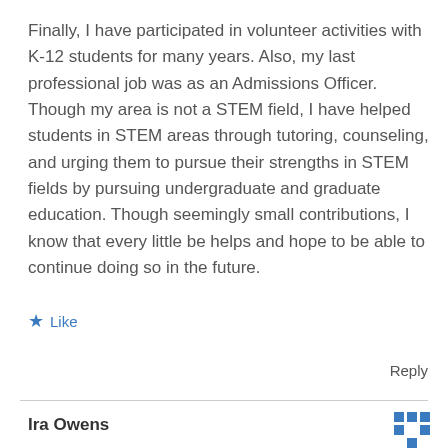Finally, I have participated in volunteer activities with K-12 students for many years. Also, my last professional job was as an Admissions Officer. Though my area is not a STEM field, I have helped students in STEM areas through tutoring, counseling, and urging them to pursue their strengths in STEM fields by pursuing undergraduate and graduate education. Though seemingly small contributions, I know that every little be helps and hope to be able to continue doing so in the future.
★ Like
Reply
Ira Owens